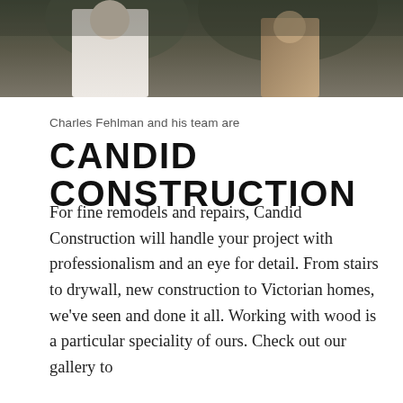[Figure (photo): Cropped photo showing two people outdoors, partially visible, with dark foliage background]
Charles Fehlman and his team are
CANDID CONSTRUCTION
For fine remodels and repairs, Candid Construction will handle your project with professionalism and an eye for detail. From stairs to drywall, new construction to Victorian homes, we've seen and done it all. Working with wood is a particular speciality of ours. Check out our gallery to